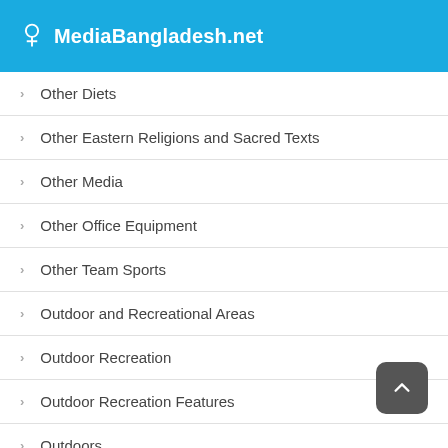MediaBangladesh.net
Other Diets
Other Eastern Religions and Sacred Texts
Other Media
Other Office Equipment
Other Team Sports
Outdoor and Recreational Areas
Outdoor Recreation
Outdoor Recreation Features
Outdoors
Packaging and Shipping Supplies